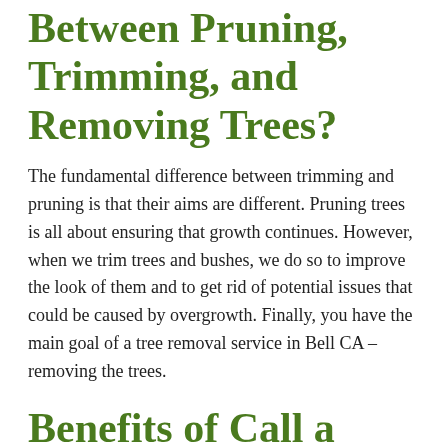Between Pruning, Trimming, and Removing Trees?
The fundamental difference between trimming and pruning is that their aims are different. Pruning trees is all about ensuring that growth continues. However, when we trim trees and bushes, we do so to improve the look of them and to get rid of potential issues that could be caused by overgrowth. Finally, you have the main goal of a tree removal service in Bell CA – removing the trees.
Benefits of Call a